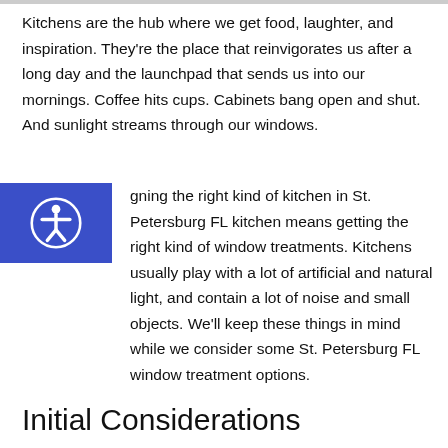Kitchens are the hub where we get food, laughter, and inspiration. They're the place that reinvigorates us after a long day and the launchpad that sends us into our mornings. Coffee hits cups. Cabinets bang open and shut. And sunlight streams through our windows.
gning the right kind of kitchen in St. Petersburg FL kitchen means getting the right kind of window treatments. Kitchens usually play with a lot of artificial and natural light, and contain a lot of noise and small objects. We'll keep these things in mind while we consider some St. Petersburg FL window treatment options.
Initial Considerations